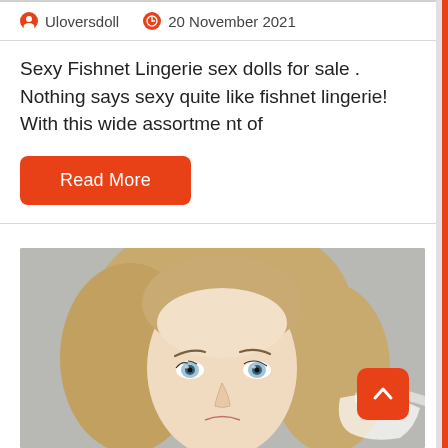Uloversdoll   20 November 2021
Sexy Fishnet Lingerie sex dolls for sale . Nothing says sexy quite like fishnet lingerie! With this wide assortment of
Read More
[Figure (photo): Close-up photo of a blonde doll face with blue eyes against a grey background]